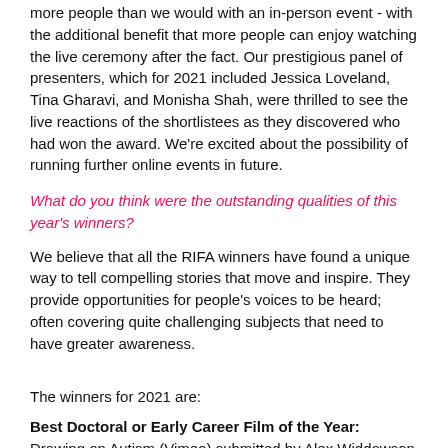more people than we would with an in-person event - with the additional benefit that more people can enjoy watching the live ceremony after the fact. Our prestigious panel of presenters, which for 2021 included Jessica Loveland, Tina Gharavi, and Monisha Shah, were thrilled to see the live reactions of the shortlistees as they discovered who had won the award. We're excited about the possibility of running further online events in future.
What do you think were the outstanding qualities of this year's winners?
We believe that all the RIFA winners have found a unique way to tell compelling stories that move and inspire. They provide opportunities for people's voices to be heard; often covering quite challenging subjects that need to have greater awareness.
The winners for 2021 are:
Best Doctoral or Early Career Film of the Year: Drawing on Autism (Vimeo) submitted by Alex Widdowson created as part of a practice-based PhD and the Wellcome Trust-funded